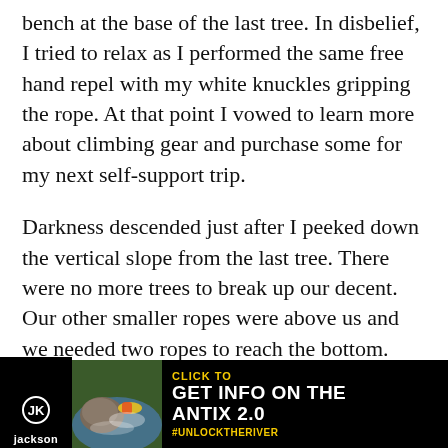bench at the base of the last tree. In disbelief, I tried to relax as I performed the same free hand repel with my white knuckles gripping the rope. At that point I vowed to learn more about climbing gear and purchase some for my next self-support trip.
Darkness descended just after I peeked down the vertical slope from the last tree. There were no more trees to break up our decent. Our other smaller ropes were above us and we needed two ropes to reach the bottom. Anchoring into Melissa's savior arbol we spent the chilly night without food or water. On about a five foot ledge,
[Figure (infographic): Jackson Kayak advertisement banner at bottom of page. Black background with Jackson logo on left, action photo of kayaker in rapids in center-left, text 'CLICK TO GET INFO ON THE ANTIX 2.0 #UNLOCKTHERIVER' in yellow and white on right.]